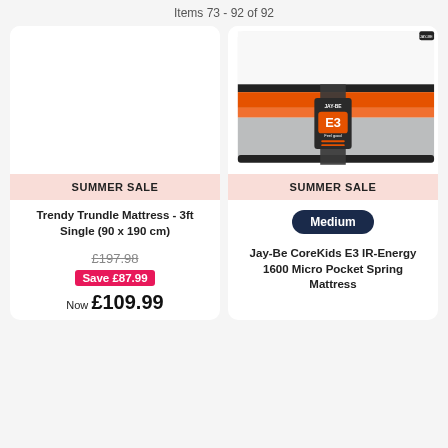Items 73 - 92 of 92
SUMMER SALE
Trendy Trundle Mattress - 3ft Single (90 x 190 cm)
£197.98
Save £87.99
Now £109.99
[Figure (photo): Jay-Be CoreKids E3 mattress product photo showing white mattress with orange and grey stripe and E3 label]
SUMMER SALE
Medium
Jay-Be CoreKids E3 IR-Energy 1600 Micro Pocket Spring Mattress